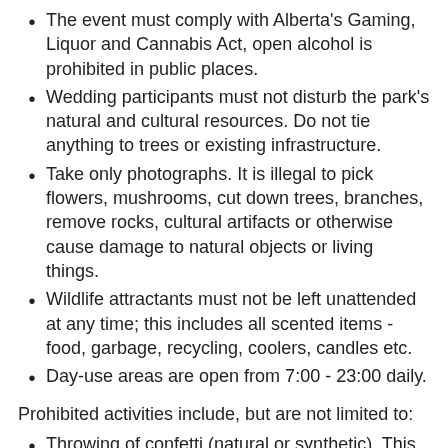The event must comply with Alberta's Gaming, Liquor and Cannabis Act, open alcohol is prohibited in public places.
Wedding participants must not disturb the park's natural and cultural resources. Do not tie anything to trees or existing infrastructure.
Take only photographs. It is illegal to pick flowers, mushrooms, cut down trees, branches, remove rocks, cultural artifacts or otherwise cause damage to natural objects or living things.
Wildlife attractants must not be left unattended at any time; this includes all scented items - food, garbage, recycling, coolers, candles etc.
Day-use areas are open from 7:00 - 23:00 daily.
Prohibited activities include, but are not limited to:
Throwing of confetti (natural or synthetic). This includes paper, rice, eco-alternatives, flower petals or leaves etc.
Use of drones.